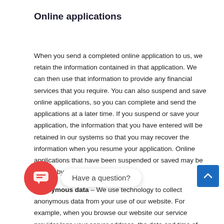Online applications
When you send a completed online application to us, we retain the information contained in that application. We can then use that information to provide any financial services that you require. You can also suspend and save online applications, so you can complete and send the applications at a later time. If you suspend or save your application, the information that you have entered will be retained in our systems so that you may recover the information when you resume your application. Online applications that have been suspended or saved may be viewed by us.
Anonymous data – We use technology to collect anonymous data from your use of our website. For example, when you browse our website our service provider logs your server address, the date and time of